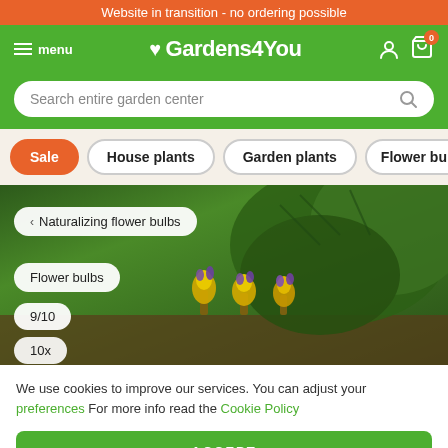Website in transition - no ordering possible
♥ Gardens4You
[Figure (screenshot): Navigation bar with menu, Gardens4You logo, user and cart icons on green background]
Search entire garden center
Sale
House plants
Garden plants
Flower bulbs
[Figure (photo): Hero image showing pine branches and purple/yellow flowering bulb plants (naturalizing flower bulbs) with overlay badges: back breadcrumb 'Naturalizing flower bulbs', tag 'Flower bulbs', rating '9/10', quantity '10x']
We use cookies to improve our services. You can adjust your preferences For more info read the Cookie Policy
ACCEPT